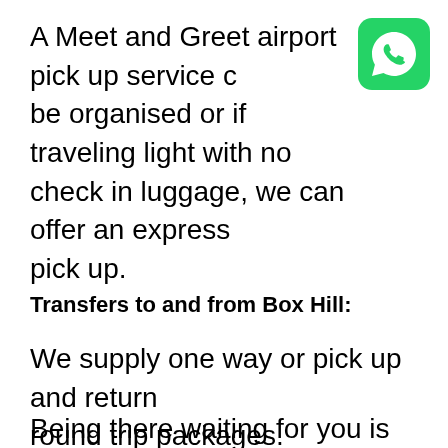A Meet and Greet airport pick up service can be organised or if traveling light with no check in luggage, we can offer an express pick up.
[Figure (logo): WhatsApp logo - green rounded square with white phone handset icon]
Transfers to and from Box Hill:
We supply one way or pick up and return round trip packages.
Being there waiting for you is our business and we welcome early or late pickups.